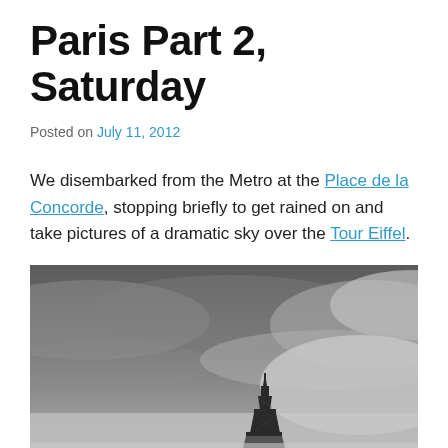Paris Part 2, Saturday
Posted on July 11, 2012
We disembarked from the Metro at the Place de la Concorde, stopping briefly to get rained on and take pictures of a dramatic sky over the Tour Eiffel.
[Figure (photo): Black and white photograph of the Eiffel Tower top emerging from misty clouds against a dramatic grey sky]